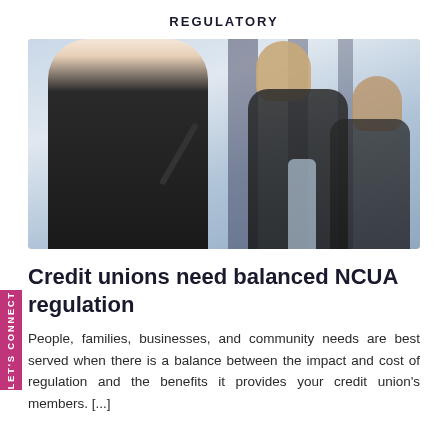REGULATORY
[Figure (photo): Three business professionals at a conference table; a young man in the foreground holds a microphone, two colleagues visible behind him.]
Credit unions need balanced NCUA regulation
People, families, businesses, and community needs are best served when there is a balance between the impact and cost of regulation and the benefits it provides your credit union's members. [...]